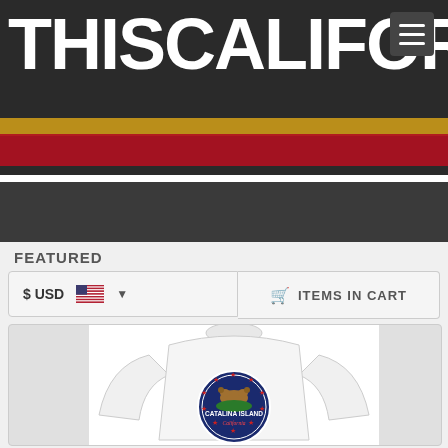THIS CALIFORNIA
SEARCH...
FEATURED
$ USD   ITEMS IN CART
[Figure (photo): White long-sleeve sweatshirt with circular Catalina Island California badge graphic featuring a bear and red stars on navy background]